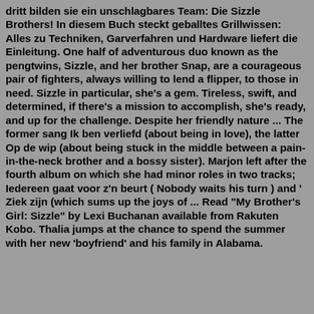dritt bilden sie ein unschlagbares Team: Die Sizzle Brothers! In diesem Buch steckt geballtes Grillwissen: Alles zu Techniken, Garverfahren und Hardware liefert die Einleitung. One half of adventurous duo known as the pengtwins, Sizzle, and her brother Snap, are a courageous pair of fighters, always willing to lend a flipper, to those in need. Sizzle in particular, she's a gem. Tireless, swift, and determined, if there's a mission to accomplish, she's ready, and up for the challenge. Despite her friendly nature ... The former sang Ik ben verliefd (about being in love), the latter Op de wip (about being stuck in the middle between a pain-in-the-neck brother and a bossy sister). Marjon left after the fourth album on which she had minor roles in two tracks; Iedereen gaat voor z'n beurt ( Nobody waits his turn ) and ' Ziek zijn (which sums up the joys of ... Read "My Brother's Girl: Sizzle" by Lexi Buchanan available from Rakuten Kobo. Thalia jumps at the chance to spend the summer with her new 'boyfriend' and his family in Alabama.